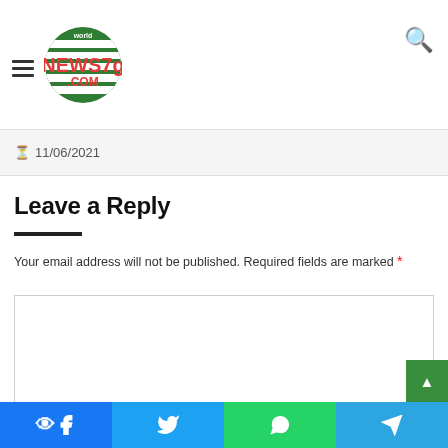world NEWS7g.COM
11/06/2021
Leave a Reply
Your email address will not be published. Required fields are marked *